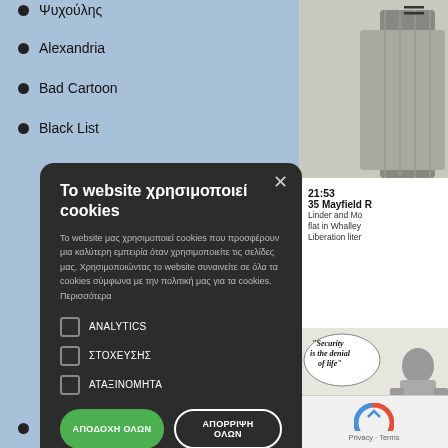Ψυχούλης
Alexandria
Bad Cartoon
Black List
[Figure (illustration): Cookie consent modal dialog with dark background overlaying a website. Modal contains title in Greek, body text in Greek, three unchecked checkboxes (ANALYTICS, ΣΤΟΧΕΥΣΗΣ, ΑΤΑΞΙΝΟΜΗΤΑ), and two buttons (ΑΠΟΔΟΧΗ ΟΛΩΝ in green, ΑΠΟΡΡΙΨΗ ΟΛΩΝ outlined).]
21:53
35 Mayfield R
Linder and Mo
flat in Whalley
Liberation liter
[Figure (illustration): Black and white comic panel showing a seated figure with speech bubble: "Security is the denial of life"]
[Figure (other): reCAPTCHA widget area with Privacy - Terms text]
It's my party